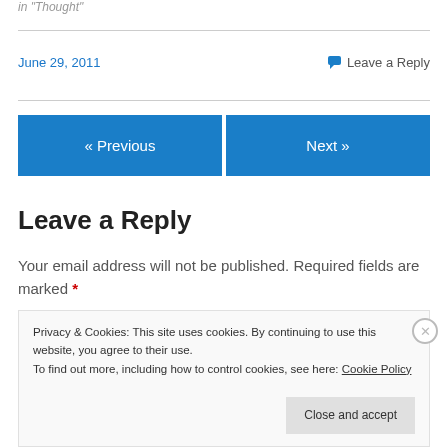in "Thought"
June 29, 2011
Leave a Reply
« Previous
Next »
Leave a Reply
Your email address will not be published. Required fields are marked *
Privacy & Cookies: This site uses cookies. By continuing to use this website, you agree to their use.
To find out more, including how to control cookies, see here: Cookie Policy
Close and accept